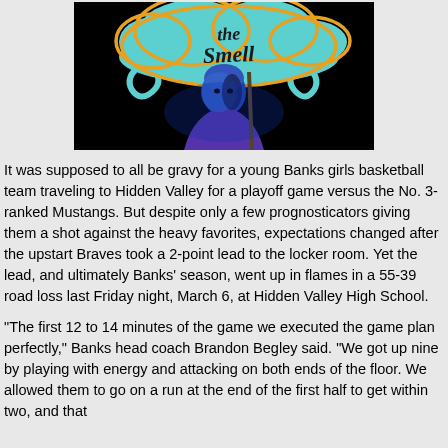[Figure (photo): Dark theatrical photo of a person lit in blue light against a black background, with a colorful teal and yellow stylized logo/text graphic above them reading 'the smell' or similar.]
It was supposed to all be gravy for a young Banks girls basketball team traveling to Hidden Valley for a playoff game versus the No. 3-ranked Mustangs. But despite only a few prognosticators giving them a shot against the heavy favorites, expectations changed after the upstart Braves took a 2-point lead to the locker room. Yet the lead, and ultimately Banks' season, went up in flames in a 55-39 road loss last Friday night, March 6, at Hidden Valley High School.
"The first 12 to 14 minutes of the game we executed the game plan perfectly," Banks head coach Brandon Begley said. "We got up nine by playing with energy and attacking on both ends of the floor. We allowed them to go on a run at the end of the first half to get within two, and that